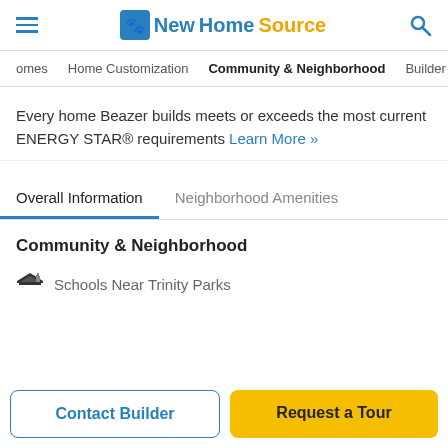NewHomeSource
omes  Home Customization  Community & Neighborhood  Builder Info
Every home Beazer builds meets or exceeds the most current ENERGY STAR® requirements Learn More »
Overall Information    Neighborhood Amenities
Community & Neighborhood
Schools Near Trinity Parks
Contact Builder    Request a Tour